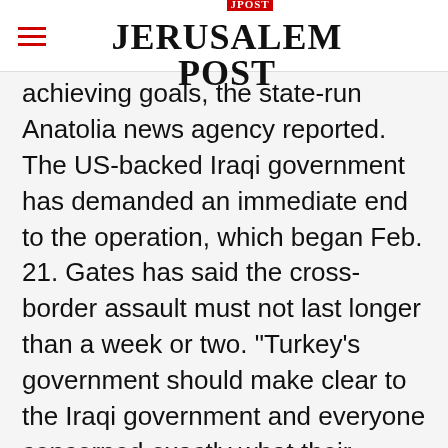THE JERUSALEM POST
achieving goals, the state-run Anatolia news agency reported. The US-backed Iraqi government has demanded an immediate end to the operation, which began Feb. 21. Gates has said the cross-border assault must not last longer than a week or two. "Turkey's government should make clear to the Iraqi government and everyone concerned exactly what their intentions are and the limited goals and scope of their operations," Gates said. "I believe there is a
Advertisement